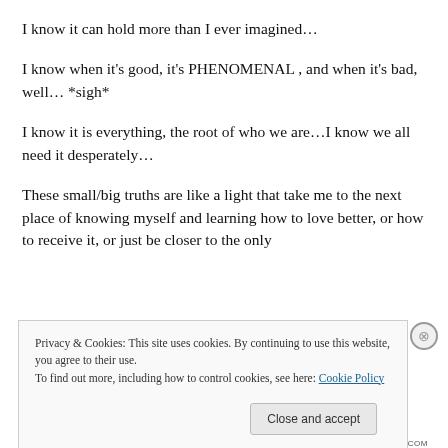I know it can hold more than I ever imagined…
I know when it's good, it's PHENOMENAL , and when it's bad, well… *sigh*
I know it is everything, the root of who we are…I know we all need it desperately…
These small/big truths are like a light that take me to the next place of knowing myself and learning how to love better, or how to receive it, or just be closer to the only
Privacy & Cookies: This site uses cookies. By continuing to use this website, you agree to their use.
To find out more, including how to control cookies, see here: Cookie Policy
Close and accept